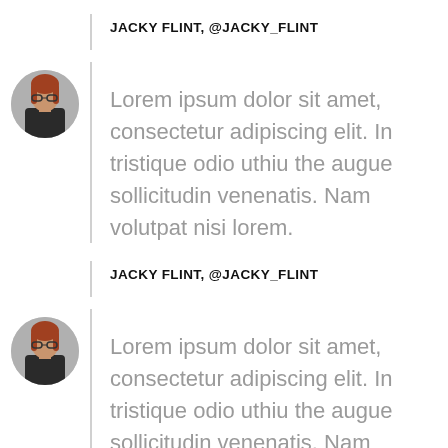JACKY FLINT, @JACKY_FLINT
[Figure (photo): Circular avatar photo of a woman with long red hair and glasses wearing a dark t-shirt, against a grey background]
Lorem ipsum dolor sit amet, consectetur adipiscing elit. In tristique odio uthiu the augue sollicitudin venenatis. Nam volutpat nisi lorem.
JACKY FLINT, @JACKY_FLINT
[Figure (photo): Circular avatar photo of a woman with long red hair and glasses wearing a dark t-shirt, against a grey background]
Lorem ipsum dolor sit amet, consectetur adipiscing elit. In tristique odio uthiu the augue sollicitudin venenatis. Nam volutpat nisi lorem.